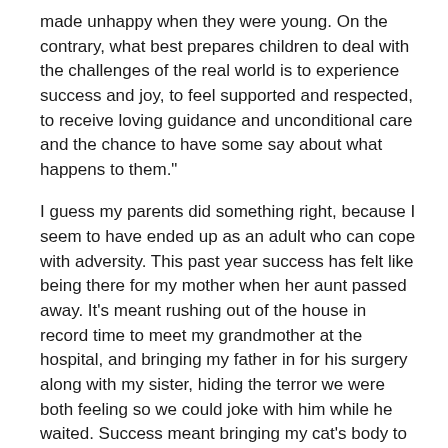made unhappy when they were young. On the contrary, what best prepares children to deal with the challenges of the real world is to experience success and joy, to feel supported and respected, to receive loving guidance and unconditional care and the chance to have some say about what happens to them."
I guess my parents did something right, because I seem to have ended up as an adult who can cope with adversity. This past year success has felt like being there for my mother when her aunt passed away. It's meant rushing out of the house in record time to meet my grandmother at the hospital, and bringing my father in for his surgery along with my sister, hiding the terror we were both feeling so we could joke with him while he waited. Success meant bringing my cat's body to the veterinarian's office to be cremated, even though I wanted to just curl up at home and grieve, because she was my cat and it was my responsibility.
Sometimes success means simply doing what you need to do.